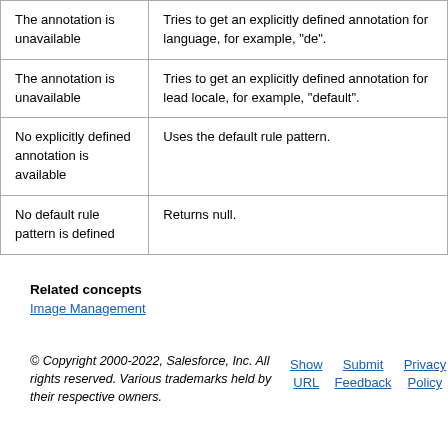| The annotation is unavailable | Tries to get an explicitly defined annotation for language, for example, "de". |
| The annotation is unavailable | Tries to get an explicitly defined annotation for lead locale, for example, "default". |
| No explicitly defined annotation is available | Uses the default rule pattern. |
| No default rule pattern is defined | Returns null. |
Related concepts
Image Management
© Copyright 2000-2022, Salesforce, Inc. All rights reserved. Various trademarks held by their respective owners.